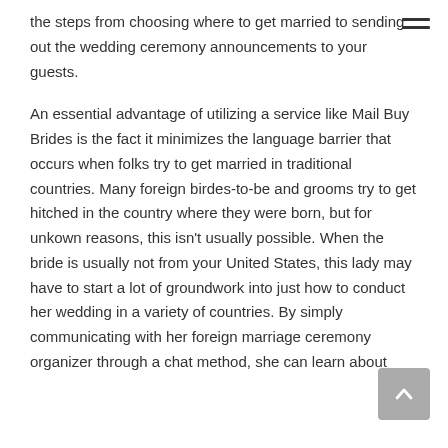the steps from choosing where to get married to sending out the wedding ceremony announcements to your guests.
An essential advantage of utilizing a service like Mail Buy Brides is the fact it minimizes the language barrier that occurs when folks try to get married in traditional countries. Many foreign birdes-to-be and grooms try to get hitched in the country where they were born, but for unkown reasons, this isn't usually possible. When the bride is usually not from your United States, this lady may have to start a lot of groundwork into just how to conduct her wedding in a variety of countries. By simply communicating with her foreign marriage ceremony organizer through a chat method, she can learn about